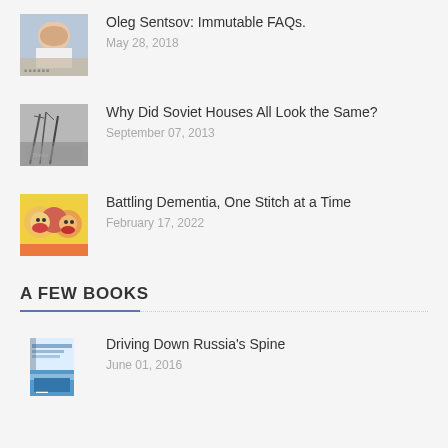[Figure (photo): Thumbnail photo of a man (Oleg Sentsov)]
Oleg Sentsov: Immutable FAQs.
May 28, 2018
[Figure (photo): Black and white photo of bare trees and a Soviet-era building]
Why Did Soviet Houses All Look the Same?
September 07, 2013
[Figure (photo): Colorful illustration of people with painted faces]
Battling Dementia, One Stitch at a Time
February 17, 2022
A FEW BOOKS
[Figure (photo): Book cover for Driving Down Russia's Spine]
Driving Down Russia's Spine
June 01, 2016